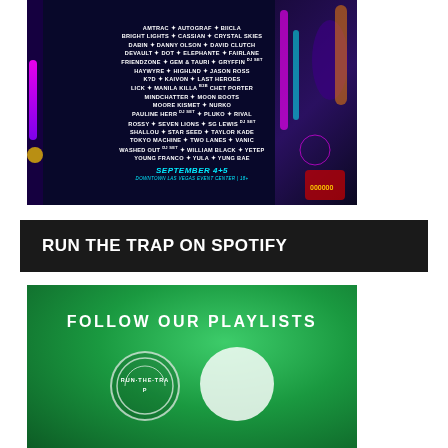[Figure (illustration): Festival lineup poster on dark blue/purple background showing artist names in white text, with futuristic neon city decoration on right side. Shows dates SEPTEMBER 4+5 at Downtown Las Vegas Event Center 18+]
[Figure (illustration): Dark banner reading RUN THE TRAP ON SPOTIFY in white bold uppercase text on near-black background]
[Figure (illustration): Green Spotify-themed promotional image with text FOLLOW OUR PLAYLISTS and Run The Trap circular logo at bottom left, white circle element at bottom right]